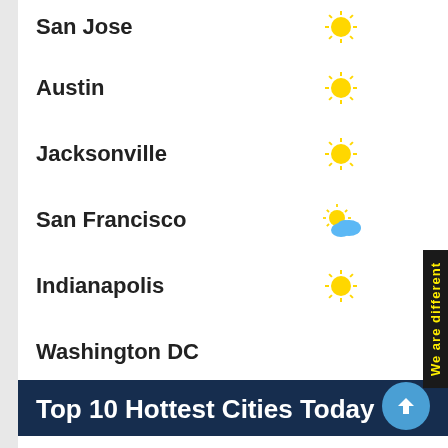San Jose — 77 / 47 °F
Austin — 43 / 29 °F
Jacksonville — 79 / 40 °F
San Francisco — 71 / 54 °F
Indianapolis — 22 / 9 °F
Washington DC — 47 / 23 °F
Top 10 Hottest Cities Today
Palm Desert
Near By Cities — 88 / 56 °F
Colton
Near By Cities — 88 / 55 °F
Indio
Near By Cities — 88 / 56 °F
Lake Elsinore — 87 / 44 °F